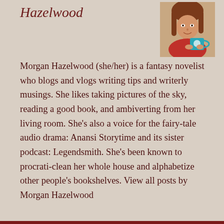Hazelwood
[Figure (photo): Photo of Morgan Hazelwood, a woman with reddish-brown hair wearing a red shirt, holding a teal/blue mug with a white logo, smiling slightly.]
Morgan Hazelwood (she/her) is a fantasy novelist who blogs and vlogs writing tips and writerly musings. She likes taking pictures of the sky, reading a good book, and ambiverting from her living room. She's also a voice for the fairy-tale audio drama: Anansi Storytime and its sister podcast: Legendsmith. She's been known to procrati-clean her whole house and alphabetize other people's bookshelves. View all posts by Morgan Hazelwood